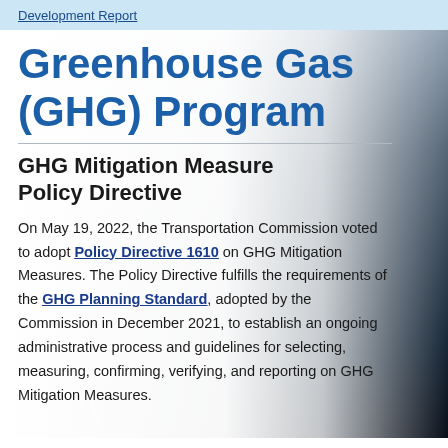Development Report
Greenhouse Gas (GHG) Program
GHG Mitigation Measure Policy Directive
On May 19, 2022, the Transportation Commission voted to adopt Policy Directive 1610 on GHG Mitigation Measures. The Policy Directive fulfills the requirements of the GHG Planning Standard, adopted by the Commission in December 2021, to establish an ongoing administrative process and guidelines for selecting, measuring, confirming, verifying, and reporting on GHG Mitigation Measures.